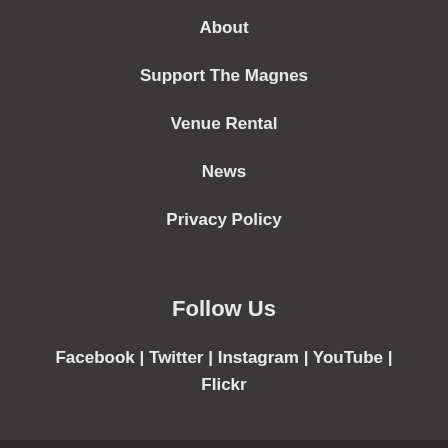About
Support The Magnes
Venue Rental
News
Privacy Policy
Follow Us
Facebook  |  Twitter  |  Instagram  |  YouTube  |  Flickr